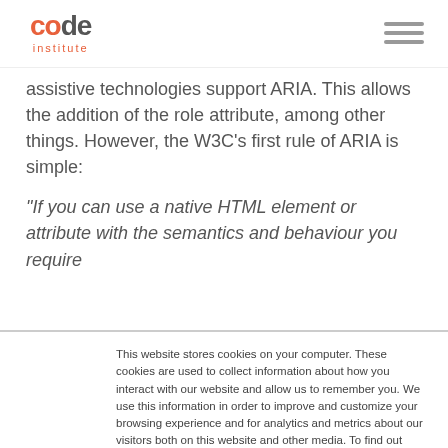Code Institute
assistive technologies support ARIA. This allows the addition of the role attribute, among other things. However, the W3C's first rule of ARIA is simple:
“If you can use a native HTML element or attribute with the semantics and behaviour you require
This website stores cookies on your computer. These cookies are used to collect information about how you interact with our website and allow us to remember you. We use this information in order to improve and customize your browsing experience and for analytics and metrics about our visitors both on this website and other media. To find out more about the cookies we use, see our Privacy Policy.